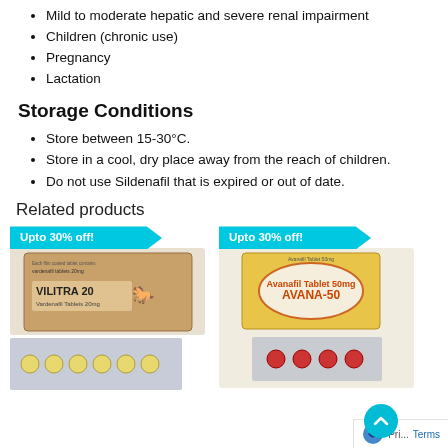Mild to moderate hepatic and severe renal impairment
Children (chronic use)
Pregnancy
Lactation
Storage Conditions
Store between 15-30°C.
Store in a cool, dry place away from the reach of children.
Do not use Sildenafil that is expired or out of date.
Related products
[Figure (photo): Vilitra 20 Vardenafil Tablets 20mg product box with blister pack showing yellow round tablets, with 'Upto 30% off!' badge]
[Figure (photo): Avana-50 product box with blister pack showing red tablets, with 'Upto 30% off!' badge]